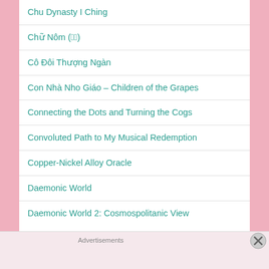Chu Dynasty I Ching
Chữ Nôm (𡨸喃)
Cô Đôi Thượng Ngàn
Con Nhà Nho Giáo – Children of the Grapes
Connecting the Dots and Turning the Cogs
Convoluted Path to My Musical Redemption
Copper-Nickel Alloy Oracle
Daemonic World
Daemonic World 2: Cosmospolitanic View
Advertisements